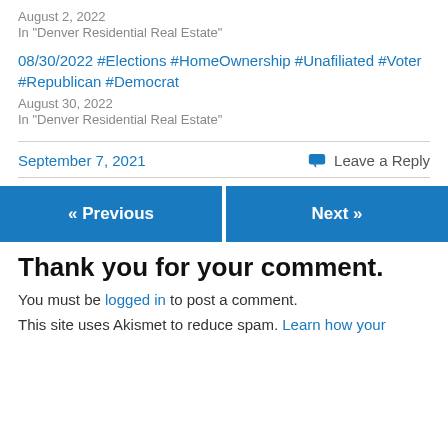August 2, 2022
In "Denver Residential Real Estate"
08/30/2022 #Elections #HomeOwnership #Unafiliated #Voter #Republican #Democrat
August 30, 2022
In "Denver Residential Real Estate"
September 7, 2021
Leave a Reply
« Previous
Next »
Thank you for your comment.
You must be logged in to post a comment.
This site uses Akismet to reduce spam. Learn how your